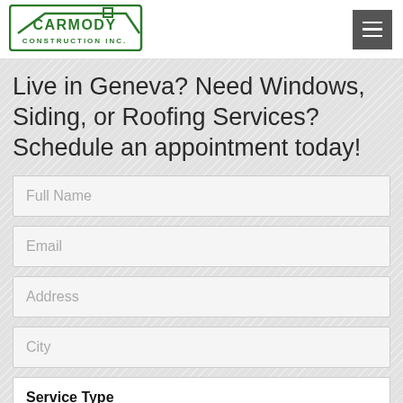[Figure (logo): Carmody Construction Inc. logo with green house/roof graphic and green text]
Live in Geneva? Need Windows, Siding, or Roofing Services? Schedule an appointment today!
Full Name
Email
Address
City
Service Type